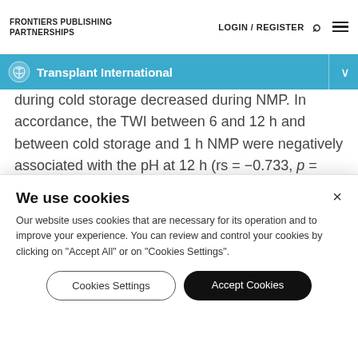FRONTIERS PUBLISHING PARTNERSHIPS  LOGIN / REGISTER
Transplant International
during cold storage decreased during NMP. In accordance, the TWI between 6 and 12 h and between cold storage and 1 h NMP were negatively associated with the pH at 12 h (rs = −0.733, p = 0.025 and rs = −0.845, p = 0.001, respectively), while a high TWI during static cold storage correlated with a
We use cookies
Our website uses cookies that are necessary for its operation and to improve your experience. You can review and control your cookies by clicking on "Accept All" or on "Cookies Settings".
Cookies Settings     Accept Cookies